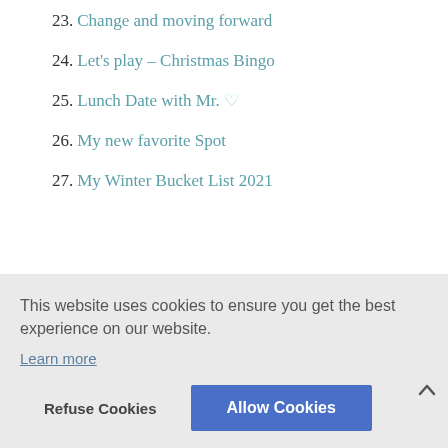23. Change and moving forward
24. Let's play – Christmas Bingo
25. Lunch Date with Mr. ♡
26. My new favorite Spot
27. My Winter Bucket List 2021
This website uses cookies to ensure you get the best experience on our website.
Learn more
Refuse Cookies
Allow Cookies
next year? You should it really is fun. We would love to have